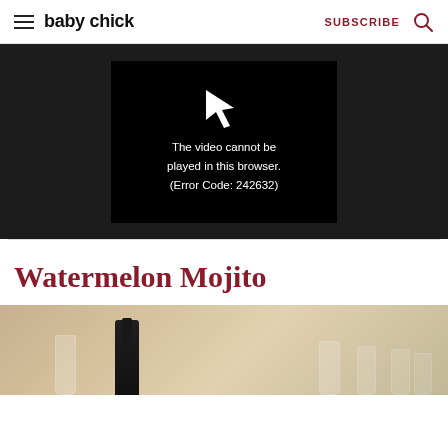baby chick | SUBSCRIBE
[Figure (screenshot): Video player showing error message: The video cannot be played in this browser. (Error Code: 242632)]
Watermelon Mojito
[Figure (photo): Photo of bottles and glasses, blurred background, cocktail setting]